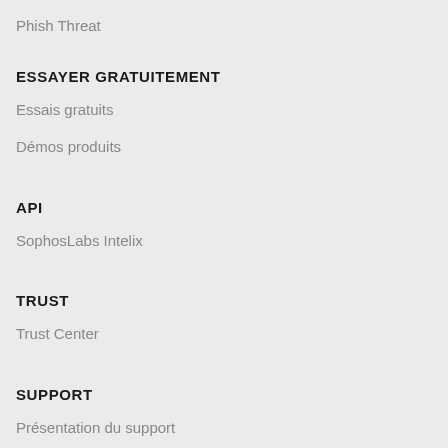Phish Threat
ESSAYER GRATUITEMENT
Essais gratuits
Démos produits
API
SophosLabs Intelix
TRUST
Trust Center
SUPPORT
Présentation du support
Offres de support
Contacter le support
Services professionnels
Documentation